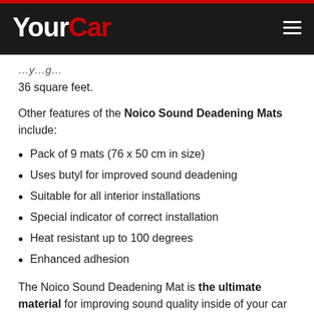YourCar
36 square feet.
Other features of the Noico Sound Deadening Mats include:
Pack of 9 mats (76 x 50 cm in size)
Uses butyl for improved sound deadening
Suitable for all interior installations
Special indicator of correct installation
Heat resistant up to 100 degrees
Enhanced adhesion
The Noico Sound Deadening Mat is the ultimate material for improving sound quality inside of your car